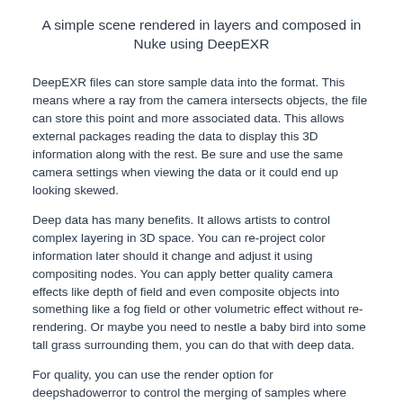A simple scene rendered in layers and composed in Nuke using DeepEXR
DeepEXR files can store sample data into the format. This means where a ray from the camera intersects objects, the file can store this point and more associated data. This allows external packages reading the data to display this 3D information along with the rest. Be sure and use the same camera settings when viewing the data or it could end up looking skewed.
Deep data has many benefits. It allows artists to control complex layering in 3D space. You can re-project color information later should it change and adjust it using compositing nodes. You can apply better quality camera effects like depth of field and even composite objects into something like a fog field or other volumetric effect without re-rendering. Or maybe you need to nestle a baby bird into some tall grass surrounding them, you can do that with deep data.
For quality, you can use the render option for deepshadowerror to control the merging of samples where larger values merge more samples but may introduce precision errors in compositing.